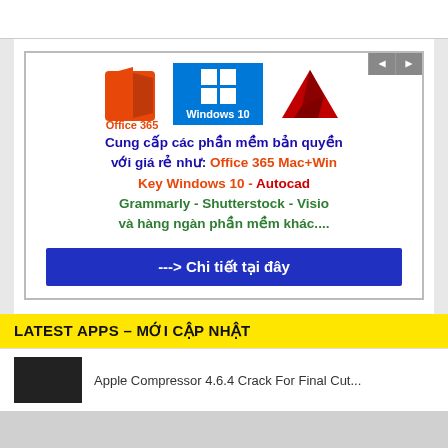[Figure (advertisement): Software advertisement banner featuring Office 365, Windows 10, and AutoCAD logos, Vietnamese promotional text, and a blue CTA button. Text reads: Cung cấp các phần mềm bản quyền với giá rẻ như: Office 365 Mac+Win Key Windows 10 - Autocad Grammarly - Shutterstock - Visio và hàng ngàn phần mềm khác.... ---> Chi tiết tại đây]
LATEST APPS – MỚI CẬP NHẬT
Apple Compressor 4.6.4 Crack For Final Cut...